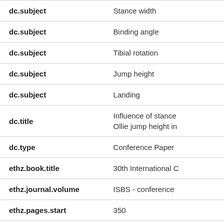| Field | Value |
| --- | --- |
| dc.subject | Stance width |
| dc.subject | Binding angle |
| dc.subject | Tibial rotation |
| dc.subject | Jump height |
| dc.subject | Landing |
| dc.title | Influence of stance
Ollie jump height in |
| dc.type | Conference Paper |
| ethz.book.title | 30th International C |
| ethz.journal.volume | ISBS - conference |
| ethz.pages.start | 350 |
| ethz.pages.end | 353 |
| ethz.event | 30th Conference o |